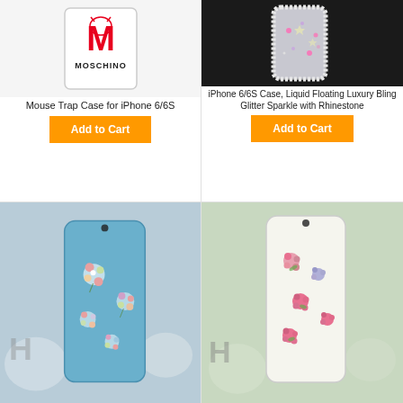[Figure (photo): Mouse Trap-styled Moschino phone case with red M logo on white background]
Mouse Trap Case for iPhone 6/6S
[Figure (photo): iPhone 6/6S case with liquid floating glitter, rhinestone border, held in hand]
iPhone 6/6S Case, Liquid Floating Luxury Bling Glitter Sparkle with Rhinestone
[Figure (photo): Blue floral pattern iPhone case on white surface with decorative background]
[Figure (photo): White floral pattern iPhone case with pink and blue flowers on white background]